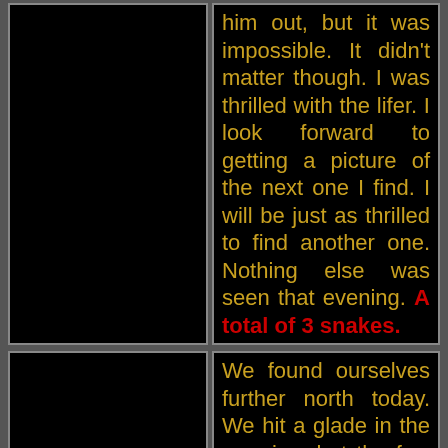[Figure (photo): Black rectangular image area, appears to be a dark/night photograph of a snake or nature scene]
him out, but it was impossible. It didn't matter though. I was thrilled with the lifer. I look forward to getting a picture of the next one I find. I will be just as thrilled to find another one. Nothing else was seen that evening. A total of 3 snakes.
[Figure (photo): Black rectangular image area, appears to be a dark/night photograph]
We found ourselves further north today. We hit a glade in the morning, but the few hours of searching produced nothing. We then